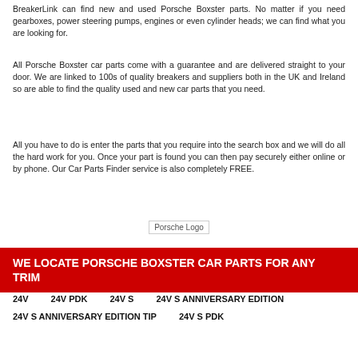BreakerLink can find new and used Porsche Boxster parts. No matter if you need gearboxes, power steering pumps, engines or even cylinder heads; we can find what you are looking for.
All Porsche Boxster car parts come with a guarantee and are delivered straight to your door. We are linked to 100s of quality breakers and suppliers both in the UK and Ireland so are able to find the quality used and new car parts that you need.
All you have to do is enter the parts that you require into the search box and we will do all the hard work for you. Once your part is found you can then pay securely either online or by phone. Our Car Parts Finder service is also completely FREE.
[Figure (logo): Porsche Logo placeholder image]
WE LOCATE PORSCHE BOXSTER CAR PARTS FOR ANY TRIM
24V
24V PDK
24V S
24V S ANNIVERSARY EDITION
24V S ANNIVERSARY EDITION TIP
24V S PDK